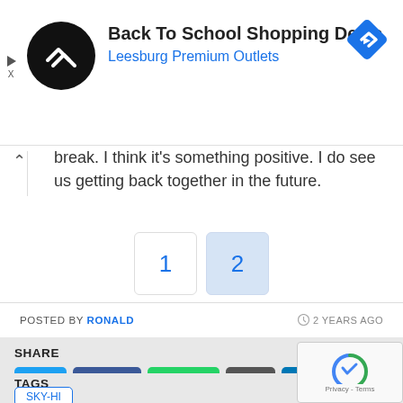[Figure (infographic): Advertisement banner: circular black logo with double-arrow icon, text 'Back To School Shopping Deals' and 'Leesburg Premium Outlets' in blue, blue diamond navigation icon top right, small play/close ad controls on left]
break. I think it's something positive. I do see us getting back together in the future.
1
2
POSTED BY RONALD  2 YEARS AGO
SHARE
Twitter
Facebook
WhatsApp
Buffer
LinkedIn
Pin It
TAGS
SKY-HI